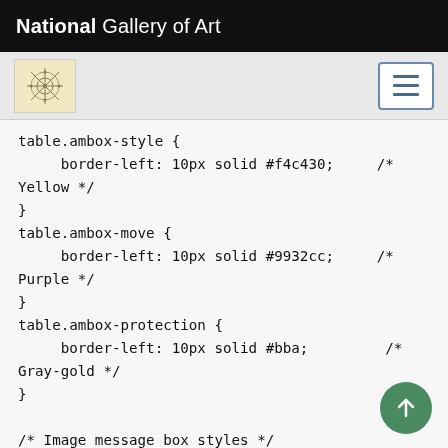National Gallery of Art
[Figure (screenshot): Navigation bar with decorative logo icon on left and hamburger menu button on right]
table.ambox-style {
     border-left: 10px solid #f4c430;     /* Yellow */
}
table.ambox-move {
     border-left: 10px solid #9932cc;     /* Purple */
}
table.ambox-protection {
     border-left: 10px solid #bba;         /* Gray-gold */
}

/* Image message box styles */
table.imbox {
     margin: 4px 10%;
     border-collapse: collapse;